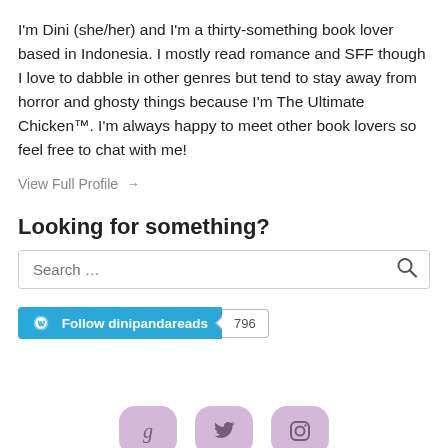I'm Dini (she/her) and I'm a thirty-something book lover based in Indonesia. I mostly read romance and SFF though I love to dabble in other genres but tend to stay away from horror and ghosty things because I'm The Ultimate Chicken™. I'm always happy to meet other book lovers so feel free to chat with me!
View Full Profile →
Looking for something?
Search …
Follow dinipandareads  796
[Figure (illustration): Three rounded square social media icons in muted purple/lavender: Goodreads (g), Twitter (bird), Instagram (camera)]